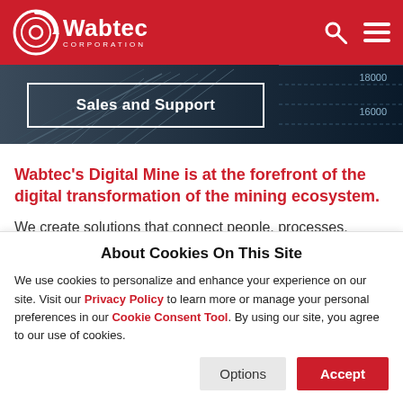Wabtec Corporation — navigation bar with logo, search, and menu icons
[Figure (screenshot): Hero banner image with dark background showing mining/industrial scene; white-bordered label box reading 'Sales and Support'; numbers '18000' and '16000' visible on right side]
Wabtec's Digital Mine is at the forefront of the digital transformation of the mining ecosystem.
We create solutions that connect people, processes, equipment and technology to improve safety.
About Cookies On This Site
We use cookies to personalize and enhance your experience on our site. Visit our Privacy Policy to learn more or manage your personal preferences in our Cookie Consent Tool. By using our site, you agree to our use of cookies.